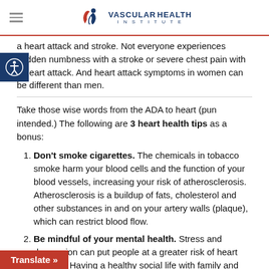VASCULAR HEALTH INSTITUTE
a heart attack and stroke. Not everyone experiences sudden numbness with a stroke or severe chest pain with a heart attack. And heart attack symptoms in women can be different than men.
Take those wise words from the ADA to heart (pun intended.) The following are 3 heart health tips as a bonus:
Don't smoke cigarettes. The chemicals in tobacco smoke harm your blood cells and the function of your blood vessels, increasing your risk of atherosclerosis. Atherosclerosis is a buildup of fats, cholesterol and other substances in and on your artery walls (plaque), which can restrict blood flow.
Be mindful of your mental health. Stress and depression can put people at a greater risk of heart disease. Having a healthy social life with family and friends can help you have a healthy heart.
ng a varied diet of healthy, nutritional